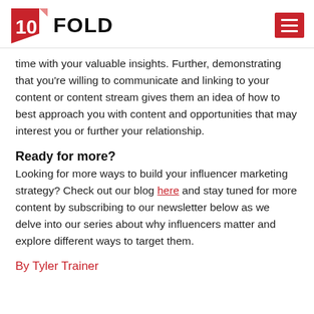[Figure (logo): 10Fold logo with red document icon and bold text FOLD, plus red hamburger menu button on the right]
time with your valuable insights. Further, demonstrating that you're willing to communicate and linking to your content or content stream gives them an idea of how to best approach you with content and opportunities that may interest you or further your relationship.
Ready for more?
Looking for more ways to build your influencer marketing strategy? Check out our blog here and stay tuned for more content by subscribing to our newsletter below as we delve into our series about why influencers matter and explore different ways to target them.
By Tyler Trainer